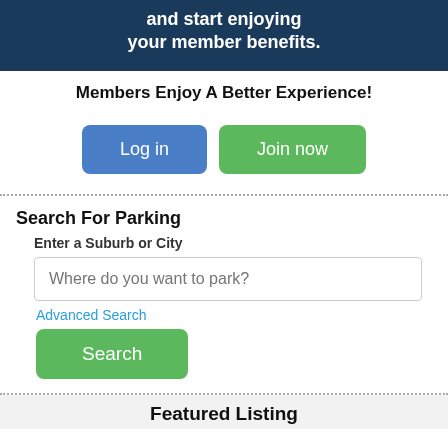[Figure (screenshot): Dark navy blue banner with bold white text reading 'and start enjoying your member benefits.']
Members Enjoy A Better Experience!
[Figure (screenshot): Two buttons side by side: a blue 'Log in' button and a green 'Join now' button]
Search For Parking
Enter a Suburb or City
Where do you want to park?
Advanced Search
[Figure (screenshot): Green 'Search' button]
Featured Listing